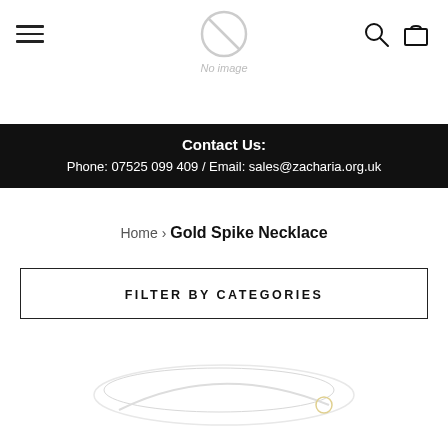[Figure (screenshot): Website navigation bar with hamburger menu on left, no-image logo placeholder in center, search and cart icons on right]
Contact Us:
Phone: 07525 099 409 / Email: sales@zacharia.org.uk
Home › Gold Spike Necklace
FILTER BY CATEGORIES
[Figure (photo): Partial product image visible at the bottom of the page showing a necklace on white background]